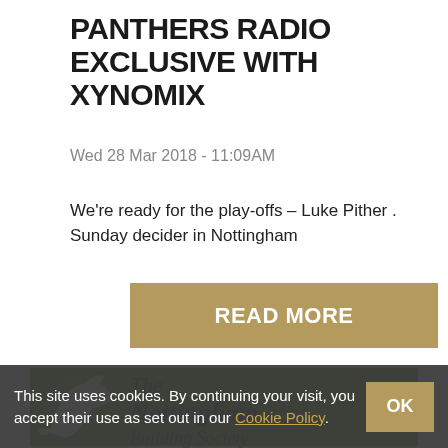PANTHERS RADIO EXCLUSIVE WITH XYNOMIX
Wed 28 Mar 2018 - 11:09AM
We're ready for the play-offs – Luke Pither . Sunday decider in Nottingham
[Figure (other): READ MORE button in tan/gold colour]
[Figure (logo): The Nottingham Building Society logo on green background with white bird/figure graphic]
This site uses cookies. By continuing your visit, you accept their use as set out in our Cookie Policy.